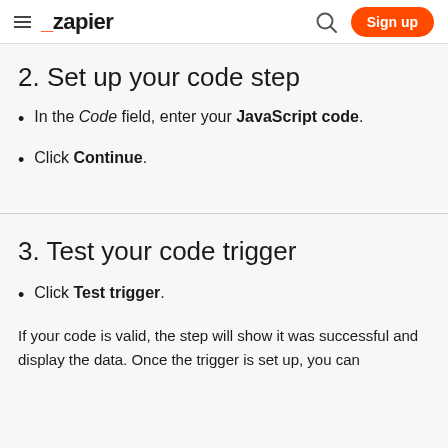≡ _zapier  🔍  Sign up
2. Set up your code step
In the Code field, enter your JavaScript code.
Click Continue.
3. Test your code trigger
Click Test trigger.
If your code is valid, the step will show it was successful and display the data. Once the trigger is set up, you can